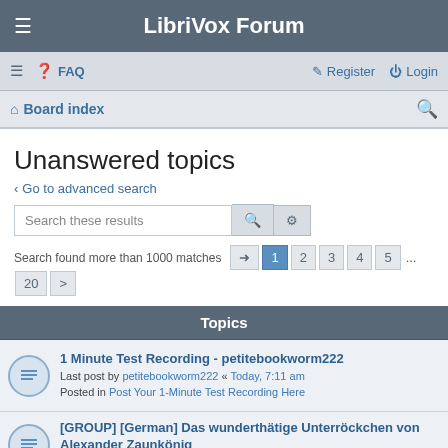LibriVox Forum
≡  FAQ   Register  Login
Board index
Unanswered topics
< Go to advanced search
Search these results
Search found more than 1000 matches   1 2 3 4 5 ... 20 >
Topics
1 Minute Test Recording - petitebookworm222
Last post by petitebookworm222 « Today, 7:11 am
Posted in Post Your 1-Minute Test Recording Here
[GROUP] [German] Das wunderthätige Unterröckchen von Alexander Zaunkönig
Last post by Friedrich « Today, 4:28 am
Posted in New Projects Launch Pad
Types and Styles of Greetings to You
Last post by OneRyt « Yesterday, 5:55 pm
Posted in New Here? Introduce Yourself!